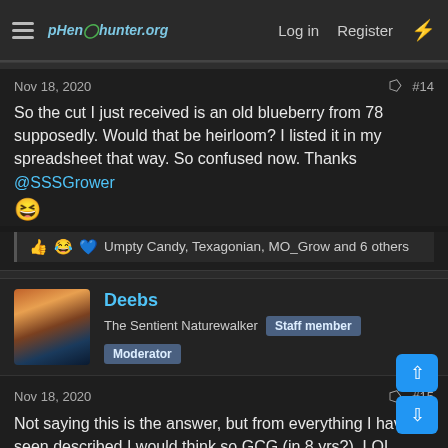pHenohunter.org — Log in | Register
Nov 18, 2020  #14
So the cut I just received is an old blueberry from 78 supposedly. Would that be heirloom? I listed it in my spreadsheet that way. So confused now. Thanks @SSSGrower 😆
👍 😂 💙 Umpty Candy, Texagonian, MO_Grow and 6 others
Deebs — The Sentient Naturewalker | Staff member | Moderator
Nov 18, 2020  #15
Not saying this is the answer, but from everything I have seen described I would think so GCG (in 8 yrs?). LOL @SSSGrower this is a really good question. Basically stated that lines that are open pollenated, and passed through generations of gardeners